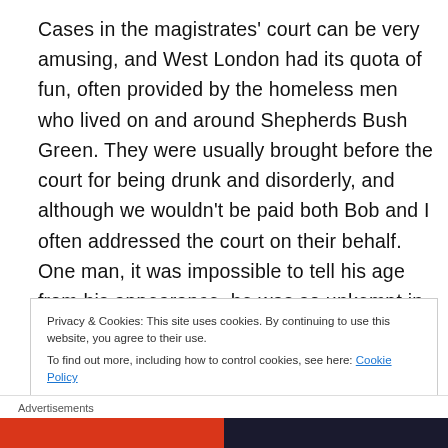Cases in the magistrates’ court can be very amusing, and West London had its quota of fun, often provided by the homeless men who lived on and around Shepherds Bush Green. They were usually brought before the court for being drunk and disorderly, and although we wouldn’t be paid both Bob and I often addressed the court on their behalf. One man, it was impossible to tell his age from his appearance, he was so unkempt in a dirty mac, torn green
Privacy & Cookies: This site uses cookies. By continuing to use this website, you agree to their use.
To find out more, including how to control cookies, see here: Cookie Policy
Close and accept
Advertisements